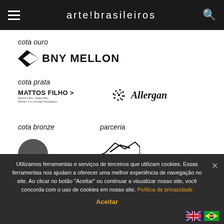arte!brasileiros
cota ouro
[Figure (logo): BNY Mellon logo with arrow chevron icon and bold text]
cota prata
[Figure (logo): Mattos Filho > logo with subtext: Mattos Filho, Veiga Filho, Marrey Jr e Quiroga Advogados]
[Figure (logo): Allergan logo with dotted circular icon]
cota bronze
parceria
Utilizamos ferramentas e serviços de terceiros que utilizam cookies. Essas ferramentas nos ajudam a oferecer uma melhor experiência de navegação no site. Ao clicar no botão "Aceitar" ou continuar a visualizar nosso site, você concorda com o uso de cookies em nosso site. Política de privacidade
Aceitar